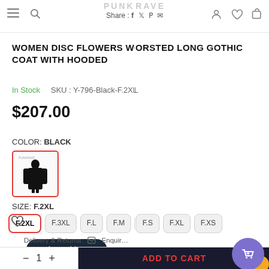PUNKRAVE  Share: f  t  p  mail
WOMEN DISC FLOWERS WORSTED LONG GOTHIC COAT WITH HOODED
In Stock   SKU : Y-796-Black-F.2XL
$207.00
COLOR: BLACK
[Figure (photo): Black gothic coat product thumbnail swatch image with red border indicating selected color]
SIZE: F.2XL
F.2XL  F.3XL  F.L  F.M  F.S  F.XL  F.XS
Chat with us
Delivery & Returns   Enquiry   ADD TO CART